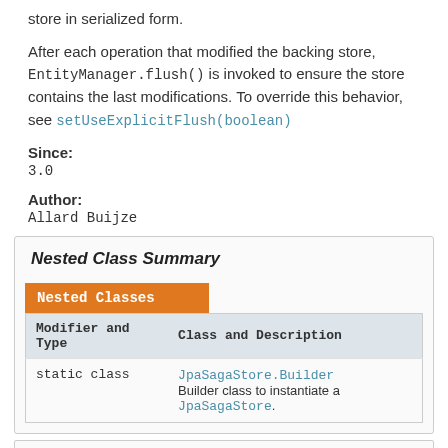store in serialized form.
After each operation that modified the backing store, EntityManager.flush() is invoked to ensure the store contains the last modifications. To override this behavior, see setUseExplicitFlush(boolean)
Since:
3.0
Author:
Allard Buijze
Nested Class Summary
| Modifier and Type | Class and Description |
| --- | --- |
| static class | JpaSagaStore.Builder
Builder class to instantiate a JpaSagaStore. |